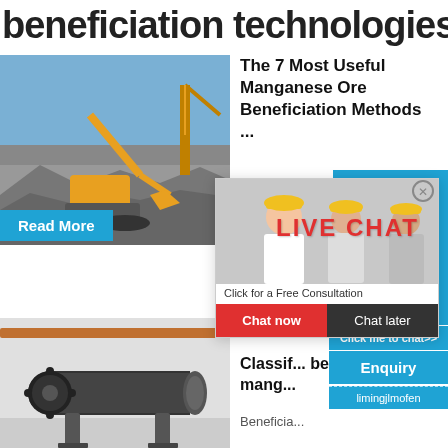beneficiation technologies
[Figure (photo): Excavator and mining equipment working at an open-pit mine site]
The 7 Most Useful Manganese Ore Beneficiation Methods ...
wide range ...
hour online
[Figure (screenshot): Live chat popup overlay with workers in hard hats. Title: LIVE CHAT. Subtitle: Click for a Free Consultation. Buttons: Chat now, Chat later.]
[Figure (photo): Industrial cone crusher machine on blue background]
Click me to chat>>
Enquiry
limingjlmofen
[Figure (photo): Large industrial ball mill machine in a factory setting]
Classification and beneficiation methods of mang...
Beneficia...